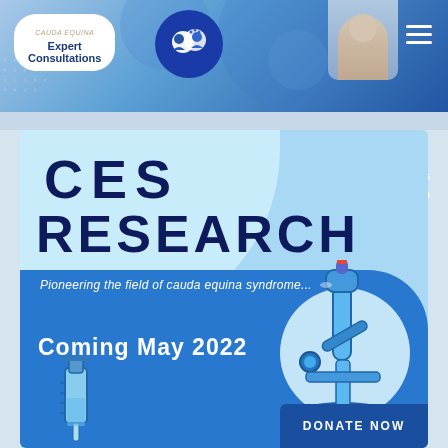[Figure (infographic): CES (Cauda Equina Syndrome) Expert Consultations website header banner with logo, chat icon, hamburger menu, phone and email contact info]
PH: 407-984-6495
EM: MedicalBoard@CESLife.org
[Figure (infographic): CES Research banner with large bold CES RESEARCH heading, tagline 'Pioneering the field of cauda equina syndrome...', 'Coming May 2022' announcement, microscope illustration, syringe illustration, and Donate Now button]